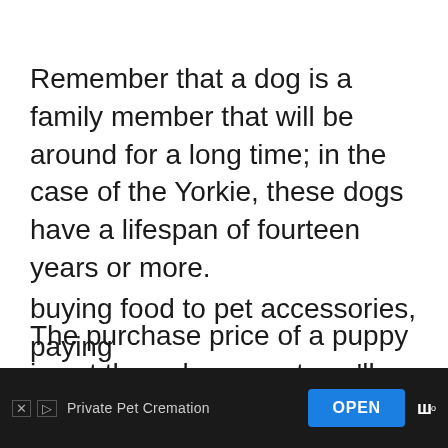Remember that a dog is a family member that will be around for a long time; in the case of the Yorkie, these dogs have a lifespan of fourteen years or more.
The purchase price of a puppy is not the only amount you'll have to consider as there are various costs that will occur during your pet's lifetime, from buying food to pet accessories, paying [to the]
[Figure (other): Advertisement banner at the bottom of the page. Shows 'Private Pet Cremation' ad with X and arrow icons, an OPEN button in blue, and a logo on a dark background.]